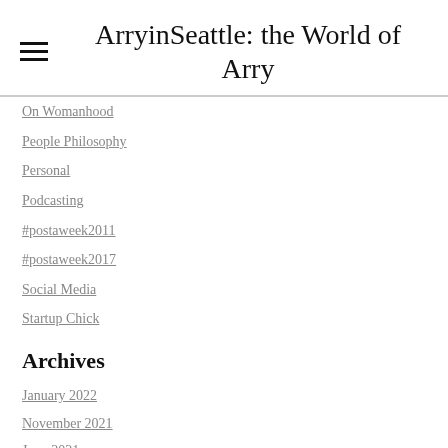ArryinSeattle: the World of Arry
On Womanhood
People Philosophy
Personal
Podcasting
#postaweek2011
#postaweek2017
Social Media
Startup Chick
Archives
January 2022
November 2021
June 2021
February 2021
November 2020
October 2020
September 2020
August 2020